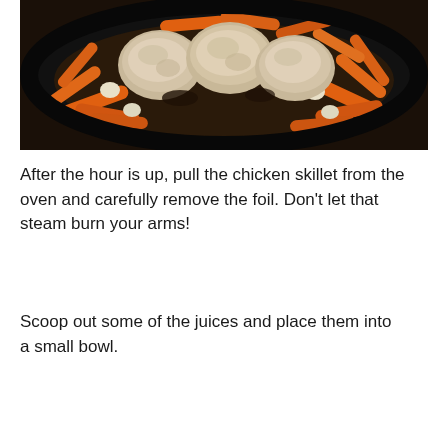[Figure (photo): A cast iron skillet containing chicken thighs, baby carrots, and garlic cloves cooking in dark liquid/juices, viewed from above on a dark surface.]
After the hour is up, pull the chicken skillet from the oven and carefully remove the foil. Don't let that steam burn your arms!
Scoop out some of the juices and place them into a small bowl.